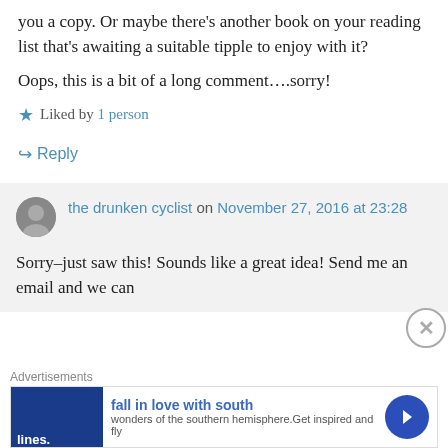you a copy. Or maybe there's another book on your reading list that's awaiting a suitable tipple to enjoy with it?
Oops, this is a bit of a long comment….sorry!
★ Liked by 1 person
↵ Reply
the drunken cyclist on November 27, 2016 at 23:28
Sorry–just saw this! Sounds like a great idea! Send me an email and we can
Advertisements
[Figure (other): Advertisement banner: fall in love with south – wonders of the southern hemisphere. Get inspired and fly]